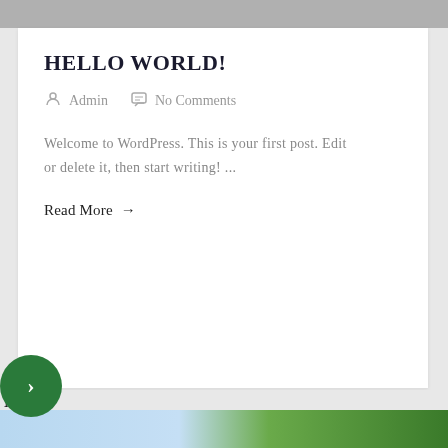HELLO WORLD!
Admin   No Comments
Welcome to WordPress. This is your first post. Edit or delete it, then start writing! ...
Read More →
Notice
: Trying to access array offset on value of type null in /home/customer/www/letourshanghai.com/public_html/wp-content/plugins/js_composer/include/autoload/vc-shortcode-autoloader.php
on line
64
[Figure (photo): Bottom strip showing sky and tree foliage images]